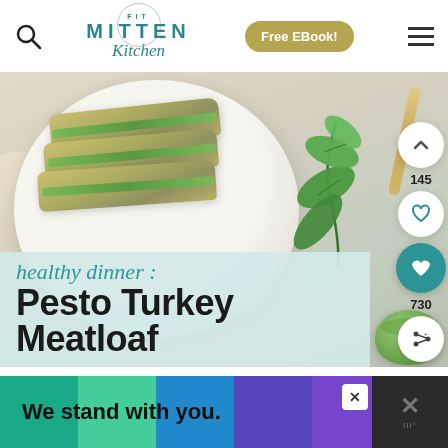Fit Mitten Kitchen — Free EBook!
[Figure (photo): Sliced pesto turkey meatloaf on a white plate with fresh basil leaves, a wooden stick, and a small bowl of pesto sauce, on a light linen background.]
healthy dinner : Pesto Turkey Meatloaf
[Figure (screenshot): Side panel with scroll up chevron icon, 145 count, heart icon, teal heart icon (730 count), and share icon.]
We stand with you.
[Figure (infographic): Bottom advertisement banner with colored blocks (teal, green, blue, purple) and text 'We stand with you.' with close button and watermark.]